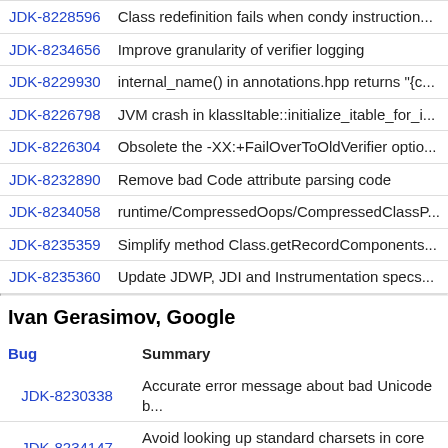| Bug | Summary |
| --- | --- |
| JDK-8228596 | Class redefinition fails when condy instruction... |
| JDK-8234656 | Improve granularity of verifier logging |
| JDK-8229930 | internal_name() in annotations.hpp returns "{c... |
| JDK-8226798 | JVM crash in klassItable::initialize_itable_for_i... |
| JDK-8226304 | Obsolete the -XX:+FailOverToOldVerifier optio... |
| JDK-8232890 | Remove bad Code attribute parsing code |
| JDK-8234058 | runtime/CompressedOops/CompressedClassP... |
| JDK-8235359 | Simplify method Class.getRecordComponents... |
| JDK-8235360 | Update JDWP, JDI and Instrumentation specs... |
Ivan Gerasimov, Google
| Bug | Summary |
| --- | --- |
| JDK-8230338 | Accurate error message about bad Unicode b... |
| JDK-8234147 | Avoid looking up standard charsets in core lib... |
| JDK-8233884 | Avoid looking up standard charsets in security... |
| JDK-8238415 | Avoid looking up standard charsets in File... |